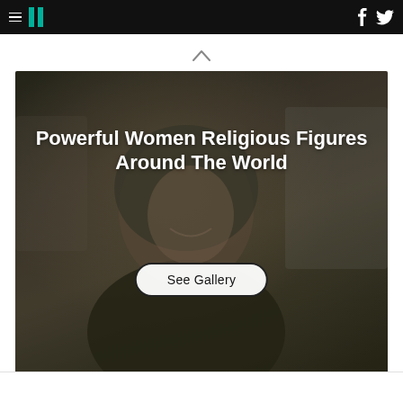HuffPost navigation bar with hamburger menu, logo, Facebook and Twitter icons
[Figure (photo): A smiling woman wearing a hijab and dark coat, with a gallery overlay showing the title 'Powerful Women Religious Figures Around The World' and a 'See Gallery' button]
See Gallery